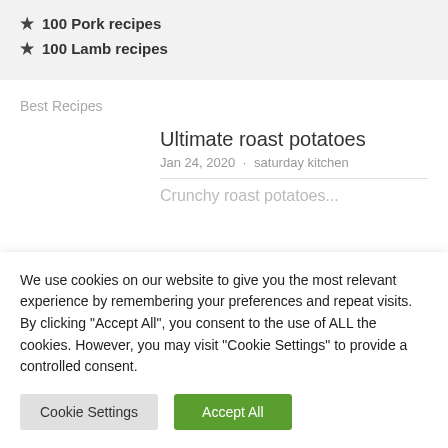★ 100 Pork recipes
★ 100 Lamb recipes
Best Recipes
Ultimate roast potatoes
Jan 24, 2020 · saturday kitchen
We use cookies on our website to give you the most relevant experience by remembering your preferences and repeat visits. By clicking "Accept All", you consent to the use of ALL the cookies. However, you may visit "Cookie Settings" to provide a controlled consent.